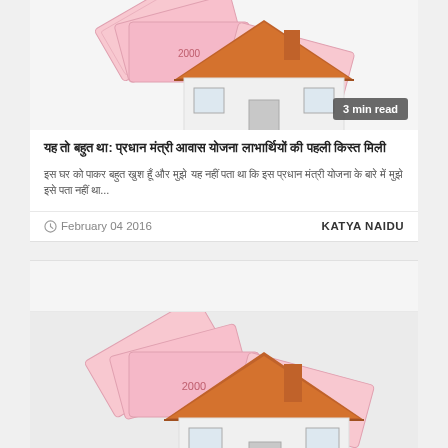[Figure (illustration): House with Indian rupee notes illustration with '3 min read' badge]
यह तो बहुत था: प्रधान मंत्री आवास योजना लाभार्थियों की पहली किस्त मिली
इस घर को पाकर बहुत खुश हूँ और मुझे यह नहीं पता था कि इस प्रधान मंत्री योजना के बारे में मुझे इसे पता नहीं था...
February 04 2016
KATYA NAIDU
[Figure (illustration): House with Indian rupee notes illustration with '2 min read' badge]
प्रधान मंत्री आवास: कैसे प्राधिकरण से लाभार्थियों को प्राथमिकता
यहां देखें कैसे प्रधान मंत्री आवास योजना के तहत कैसे पहला किश्त मिलने के बाद कैसे कैसे प्राधिकरण से